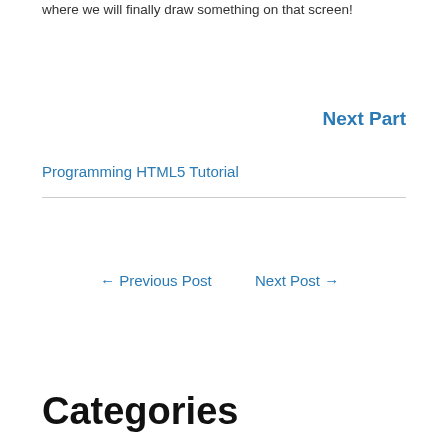where we will finally draw something on that screen!
Next Part
Programming HTML5 Tutorial
← Previous Post
Next Post →
Categories